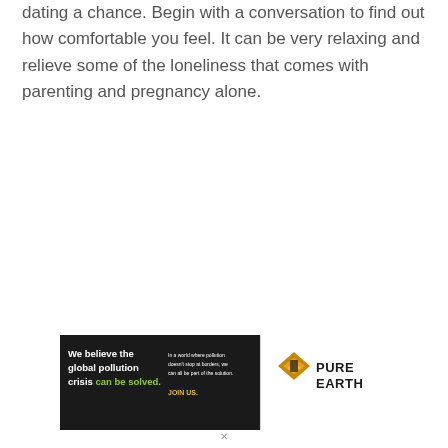dating a chance. Begin with a conversation to find out how comfortable you feel. It can be very relaxing and relieve some of the loneliness that comes with parenting and pregnancy alone.
[Figure (other): Advertisement banner for Pure Earth organization. Black background on left showing text: 'We believe the global pollution crisis can be solved.' with 'can be solved.' in green. Small text on right side reads: 'In a world where pollution doesn't stop at borders, we can all be part of the solution. JOIN US.' in yellow. Logo on far right shows Pure Earth diamond/chevron icon in gold with 'PURE EARTH' text in black.]